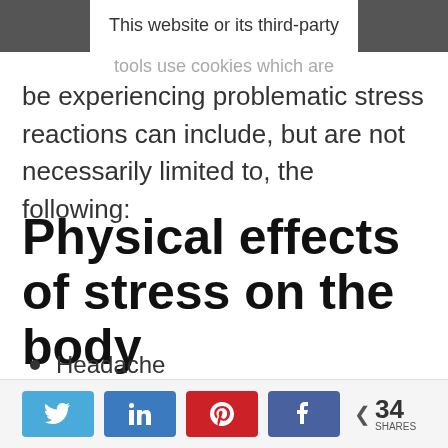This website or its third-party
tools use cookies which are
be experiencing problematic stress reactions can include, but are not necessarily limited to, the following:
Physical effects of stress on the body
Headache
Muscle tension or body aches
Social share buttons: Twitter, LinkedIn, Pinterest, Facebook. 34 SHARES